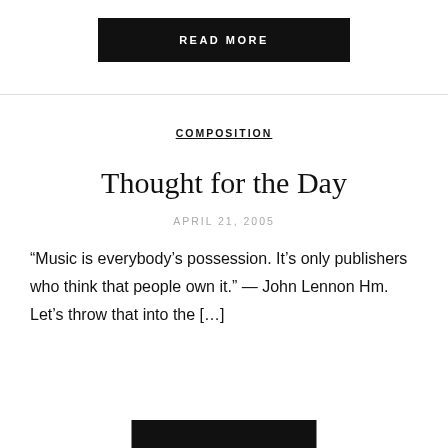[Figure (other): Black 'READ MORE' button at top center of page]
COMPOSITION
Thought for the Day
APRIL 21, 2005
“Music is everybody’s possession. It’s only publishers who think that people own it.” — John Lennon Hm. Let’s throw that into the [...]
[Figure (other): Black 'READ MORE' button at bottom center of page, partially visible]